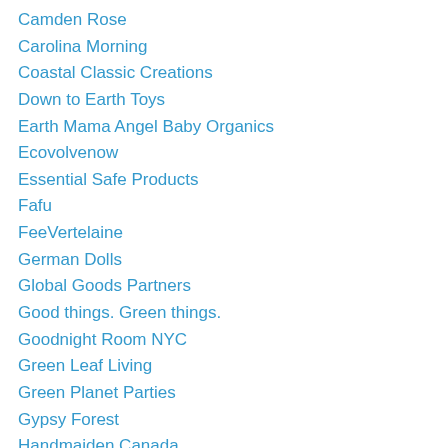Camden Rose
Carolina Morning
Coastal Classic Creations
Down to Earth Toys
Earth Mama Angel Baby Organics
Ecovolvenow
Essential Safe Products
Fafu
FeeVertelaine
German Dolls
Global Goods Partners
Good things. Green things.
Goodnight Room NYC
Green Leaf Living
Green Planet Parties
Gypsy Forest
Handmaiden Canada
Hazelnut Kids
Holy Lamb Organics
Imagine Childhood